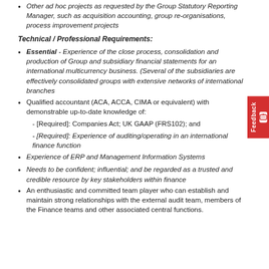Other ad hoc projects as requested by the Group Statutory Reporting Manager, such as acquisition accounting, group re-organisations, process improvement projects
Technical / Professional Requirements:
Essential - Experience of the close process, consolidation and production of Group and subsidiary financial statements for an international multicurrency business. (Several of the subsidiaries are effectively consolidated groups with extensive networks of international branches
Qualified accountant (ACA, ACCA, CIMA or equivalent) with demonstrable up-to-date knowledge of:
- [Required]: Companies Act; UK GAAP (FRS102); and
- [Required]: Experience of auditing/operating in an international finance function
Experience of ERP and Management Information Systems
Needs to be confident; influential; and be regarded as a trusted and credible resource by key stakeholders within finance
An enthusiastic and committed team player who can establish and maintain strong relationships with the external audit team, members of the Finance teams and other associated central functions.